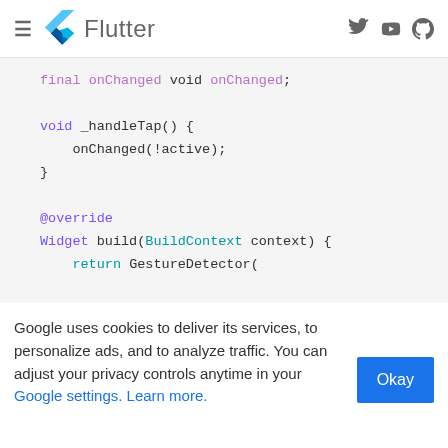Flutter
[Figure (screenshot): Flutter documentation website code snippet showing Dart code: void _handleTap() { onChange(!active); } @override Widget build(BuildContext context) { return GestureDetector(]
Google uses cookies to deliver its services, to personalize ads, and to analyze traffic. You can adjust your privacy controls anytime in your Google settings. Learn more.